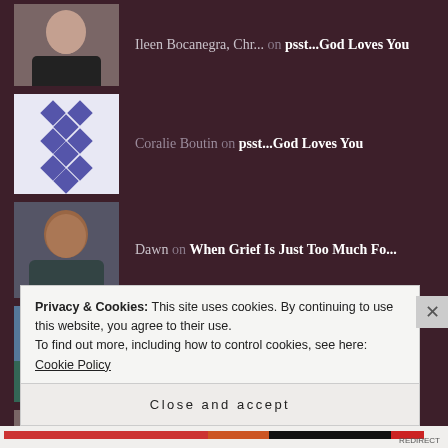Ileen Bocanegra, Chr... on psst...God Loves You
Coralie Boutin on psst...God Loves You
Dawn on When Grief Is Just Too Much Fo...
Don't Lose Hope on When forgiving feels impossibl...
Ileen Bocanegra, Chr... on RESCUED
Privacy & Cookies: This site uses cookies. By continuing to use this website, you agree to their use.
To find out more, including how to control cookies, see here: Cookie Policy
Close and accept